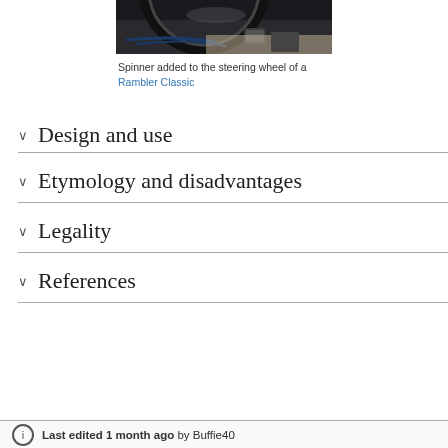[Figure (photo): Partial view of a car steering wheel with a spinner knob attached, dark interior, cropped at top of page]
Spinner added to the steering wheel of a Rambler Classic
Design and use
Etymology and disadvantages
Legality
References
Last edited 1 month ago by Buffie40